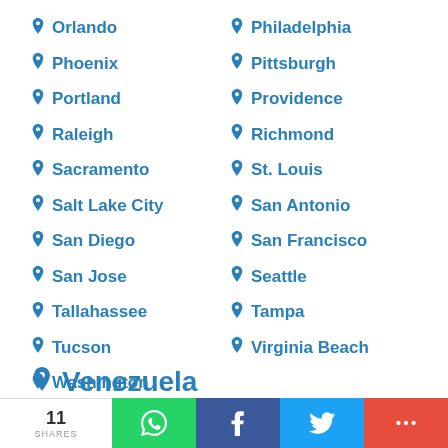Orlando
Philadelphia
Phoenix
Pittsburgh
Portland
Providence
Raleigh
Richmond
Sacramento
St. Louis
Salt Lake City
San Antonio
San Diego
San Francisco
San Jose
Seattle
Tallahassee
Tampa
Tucson
Virginia Beach
Washington
Venezuela
11 SHARES | WhatsApp | Facebook | Twitter | More